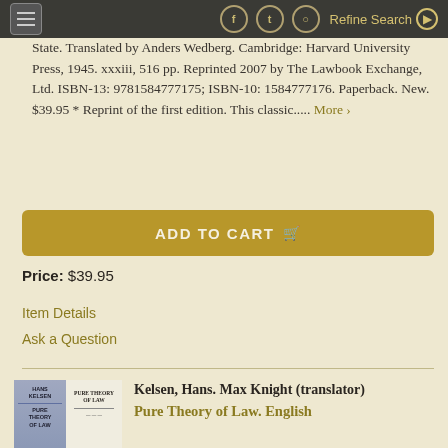Refine Search
State. Translated by Anders Wedberg. Cambridge: Harvard University Press, 1945. xxxiii, 516 pp. Reprinted 2007 by The Lawbook Exchange, Ltd. ISBN-13: 9781584777175; ISBN-10: 1584777176. Paperback. New. $39.95 * Reprint of the first edition. This classic..... More ›
ADD TO CART
Price: $39.95
Item Details
Ask a Question
[Figure (photo): Book cover thumbnail showing Pure Theory of Law]
Kelsen, Hans. Max Knight (translator)
Pure Theory of Law. English